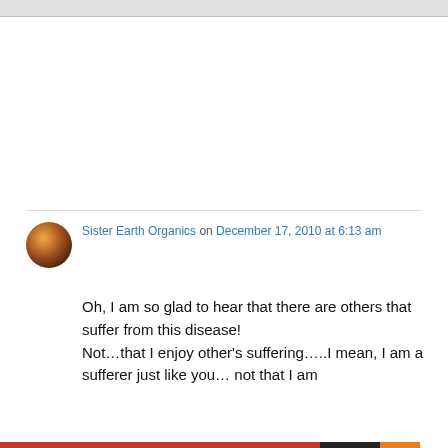Sister Earth Organics on December 17, 2010 at 6:13 am
Oh, I am so glad to hear that there are others that suffer from this disease! Not…that I enjoy other's suffering…..I mean, I am a sufferer just like you… not that I am
Privacy & Cookies: This site uses cookies. By continuing to use this website, you agree to their use. To find out more, including how to control cookies, see here: Cookie Policy
Close and accept